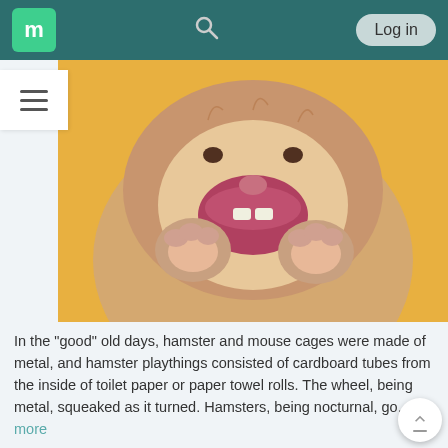m  [search]  Log in
[Figure (photo): Close-up photo of a hamster with mouth open and tiny paws raised, sitting in a yellow container, appearing to be laughing or yawning.]
In the "good" old days, hamster and mouse cages were made of metal, and hamster playthings consisted of cardboard tubes from the inside of toilet paper or paper towel rolls. The wheel, being metal, squeaked as it turned. Hamsters, being nocturnal, go... more
0  0  0  497